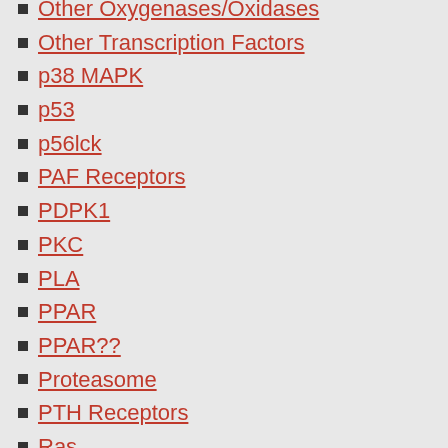Other Oxygenases/Oxidases
Other Transcription Factors
p38 MAPK
p53
p56lck
PAF Receptors
PDPK1
PKC
PLA
PPAR
PPAR??
Proteasome
PTH Receptors
Ras
RNA Polymerase
Serotonin (5-HT2B) Receptors
Serotonin Transporters
Sigma2 Receptors
Sodium Channels
Steroid Hormone Receptors